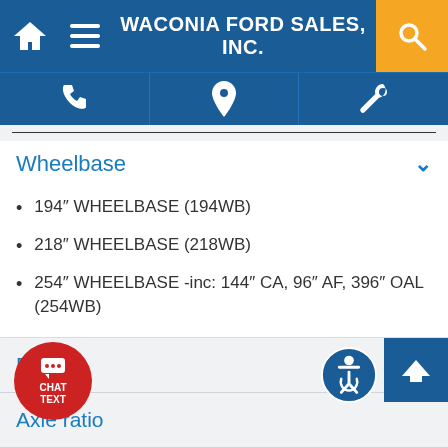WACONIA FORD SALES, INC.
Wheelbase
194″ WHEELBASE (194WB)
218″ WHEELBASE (218WB)
254″ WHEELBASE -inc: 144″ CA, 96″ AF, 396″ OAL (254WB)
Frame
Axle ratio
nt suspension